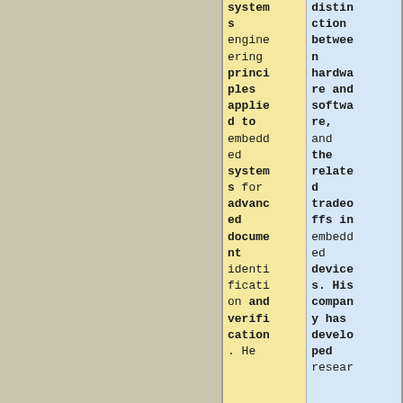| systems engineering principles applied to embedded systems for advanced document identification and verification. He | distinction between hardware and software, and the related tradeoffs in embedded devices. His company has developed resear |